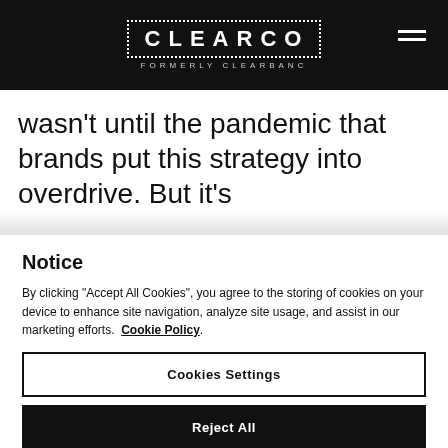CLEARCO FORMERLY CLEARBANC
wasn't until the pandemic that brands put this strategy into overdrive. But it's
Notice
By clicking "Accept All Cookies", you agree to the storing of cookies on your device to enhance site navigation, analyze site usage, and assist in our marketing efforts.  Cookie Policy.
Cookies Settings
Reject All
Accept All Cookies